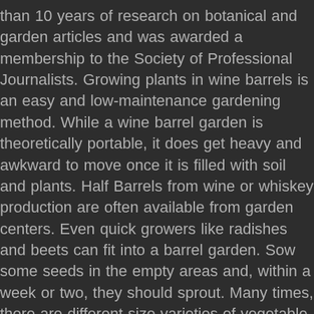than 10 years of research on botanical and garden articles and was awarded a membership to the Society of Professional Journalists. Growing plants in wine barrels is an easy and low-maintenance gardening method. While a wine barrel garden is theoretically portable, it does get heavy and awkward to move once it is filled with soil and plants. Half Barrels from wine or whiskey production are often available from garden centers. Even quick growers like radishes and beets can fit into a barrel garden. Sow some seeds in the empty areas and, within a week or two, they should sprout. Many times, there are different-size varieties of vegetable plants from which to choose, such as full-size or smaller dwarf or bush varieties. You can grow tomatoes and tender veg directly in growbags too. Growing vegetables in car wash barrels? A whiskey barrel vegetable garden is an excellent idea, especially if you have limited garden space. Make sure to choose large containers like wooden planters and half barrels. Plus, their traditional rustic oak adds character to any garden